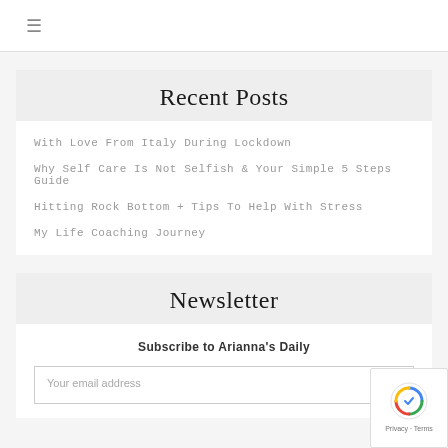≡
Recent Posts
With Love From Italy During Lockdown
Why Self Care Is Not Selfish & Your Simple 5 Steps Guide
Hitting Rock Bottom + Tips To Help With Stress
My Life Coaching Journey
Newsletter
Subscribe to Arianna's Daily
Your email address